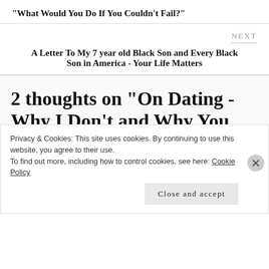“What Would You Do If You Couldn’t Fail?”
NEXT
A Letter To My 7 year old Black Son and Every Black Son in America - Your Life Matters
2 thoughts on “On Dating - Why I Don’t and Why You Should or
Privacy & Cookies: This site uses cookies. By continuing to use this website, you agree to their use.
To find out more, including how to control cookies, see here: Cookie Policy
Close and accept